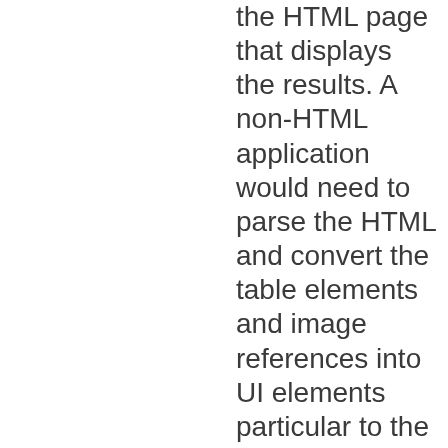the HTML page that displays the results. A non-HTML application would need to parse the HTML and convert the table elements and image references into UI elements particular to the programming language used. As usual for string data types, the HTML markup elements are escaped with